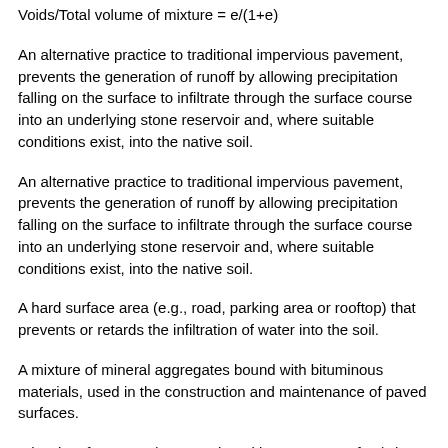Voids/Total volume of mixture = e/(1+e)
An alternative practice to traditional impervious pavement, prevents the generation of runoff by allowing precipitation falling on the surface to infiltrate through the surface course into an underlying stone reservoir and, where suitable conditions exist, into the native soil.
An alternative practice to traditional impervious pavement, prevents the generation of runoff by allowing precipitation falling on the surface to infiltrate through the surface course into an underlying stone reservoir and, where suitable conditions exist, into the native soil.
A hard surface area (e.g., road, parking area or rooftop) that prevents or retards the infiltration of water into the soil.
A mixture of mineral aggregates bound with bituminous materials, used in the construction and maintenance of paved surfaces.
A hard surface area (e.g., road, parking area or rooftop) that prevents or retards the infiltration of water into the soil.
A broad category of particulate material used in construction, including sand, gravel, crushed stone, slag, recycled concrete and...